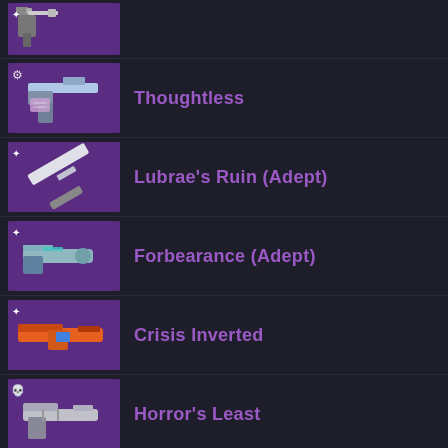[Figure (screenshot): Partial item row at top - weapon icon with purple background showing a weapon silhouette]
Thoughtless
Lubrae's Ruin (Adept)
Forbearance (Adept)
Crisis Inverted
Horror's Least
Horror's Least (Adept)